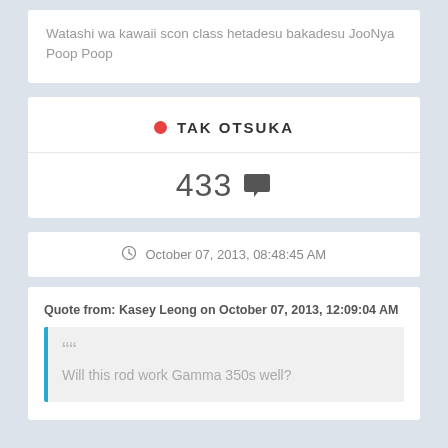Watashi wa kawaii scon class hetadesu bakadesu JooNya Poop Poop
TAK OTSUKA
433
October 07, 2013, 08:48:45 AM
Quote from: Kasey Leong on October 07, 2013, 12:09:04 AM
Will this rod work Gamma 350s well?